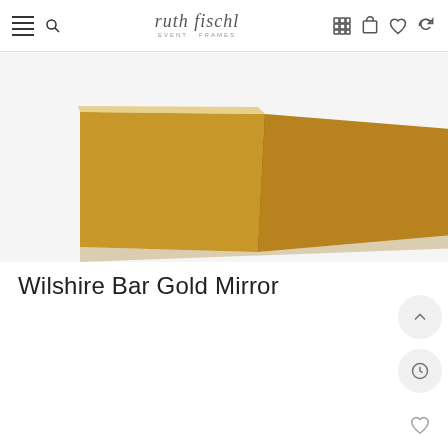ruth fischl — navigation bar with menu, search, logo, grid, cart, wishlist, refresh icons
[Figure (photo): Partial view of a gold/wooden triangular decorative mirror (Wilshire Bar Gold Mirror) photographed against a white background]
Wilshire Bar Gold Mirror
[Figure (illustration): Side floating action buttons: up arrow, clock/history, heart/wishlist, eye/preview, refresh icons in circular buttons]